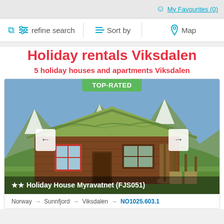My Favourites (0)
refine search   Sort by   Map
Holiday rentals Viksdalen
5 holiday houses and apartments Viksdalen
[Figure (photo): A wooden holiday house with a grass-covered roof set against a mountainous Norwegian landscape. A TOP-RATED badge appears at the top of the image. Navigation arrows (left/right) are on either side. Overlay text reads: ★★ Holiday House Myravatnet (FJS051).]
Norway → Sunnfjord → Viksdalen → NO1025.603.1